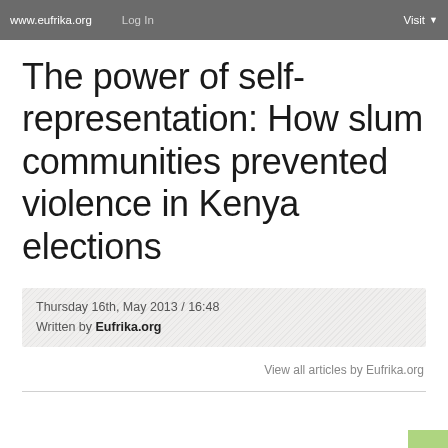www.eufrika.org   Log In   Visit
The power of self-representation: How slum communities prevented violence in Kenya elections
Thursday 16th, May 2013 / 16:48
Written by Eufrika.org
View all articles by Eufrika.org